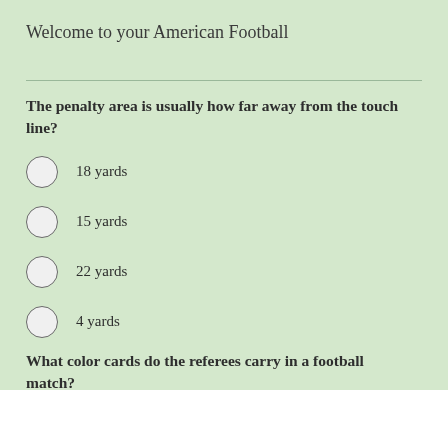Welcome to your American Football
The penalty area is usually how far away from the touch line?
18 yards
15 yards
22 yards
4 yards
What color cards do the referees carry in a football match?